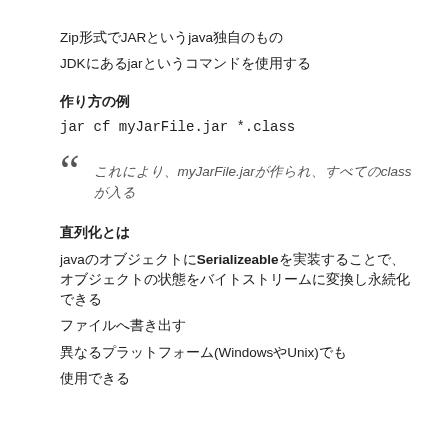Zip形式でJARというjava独自のもの
JDKにあるjarというコマンドを使用する
作り方の例
jar cf myJarFile.jar *.class
これにより、myJarFile.jarが作られ、すべてのclassが入る
直列化とは
javaのオブジェクトにSerializeableを実装することで、オブジェクトの状態をバイトストリームに変換し永続化できる
ファイルへ書き出す
異なるプラットフォーム(WindowsやUnix)でも
使用できる